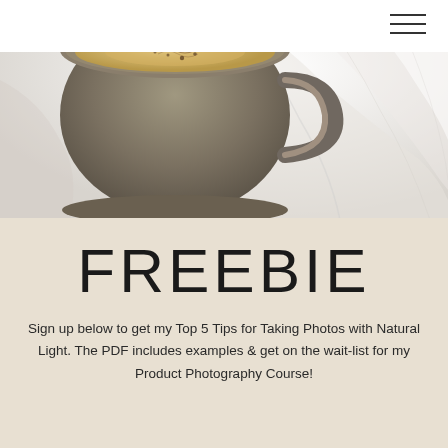[Figure (photo): Overhead view of a white ceramic mug filled with latte coffee on white linen cloth background]
FREEBIE
Sign up below to get my Top 5 Tips for Taking Photos with Natural Light. The PDF includes examples & get on the wait-list for my Product Photography Course!